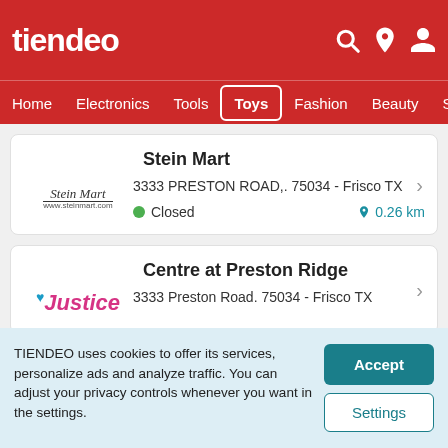tiendeo
[Figure (screenshot): Tiendeo website navigation bar with Home, Electronics, Tools, Toys (active), Fashion, Beauty, Sports menu items]
Stein Mart — 3333 PRESTON ROAD,. 75034 - Frisco TX — Closed — 0.26 km
Centre at Preston Ridge — 3333 Preston Road. 75034 - Frisco TX
TIENDEO uses cookies to offer its services, personalize ads and analyze traffic. You can adjust your privacy controls whenever you want in the settings.